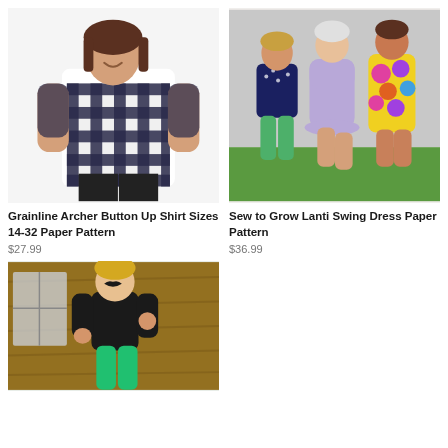[Figure (photo): Woman wearing black and white buffalo check/plaid button-up shirt, smiling, on white background]
Grainline Archer Button Up Shirt Sizes 14-32 Paper Pattern
$27.99
[Figure (photo): Three women standing together outdoors; one in navy star print top with green pants, one in light purple dress, one in colorful floral print dress]
Sew to Grow Lanti Swing Dress Paper Pattern
$36.99
[Figure (photo): Blonde woman in black shirt and bright green pants, holding hand near face, standing indoors]